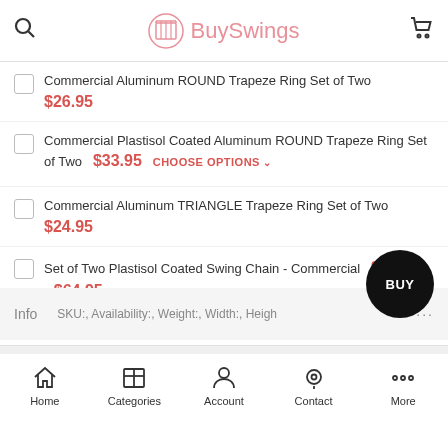BuySwings
Commercial Aluminum ROUND Trapeze Ring Set of Two $26.95
Commercial Plastisol Coated Aluminum ROUND Trapeze Ring Set of Two $33.95 CHOOSE OPTIONS
Commercial Aluminum TRIANGLE Trapeze Ring Set of Two $24.95
Set of Two Plastisol Coated Swing Chain - Commercial $46.95 - $64.95 CHOOSE OPTIONS
Info  SKU:, Availability:, Weight:, Width:, Height:
Home  Categories  Account  Contact  More